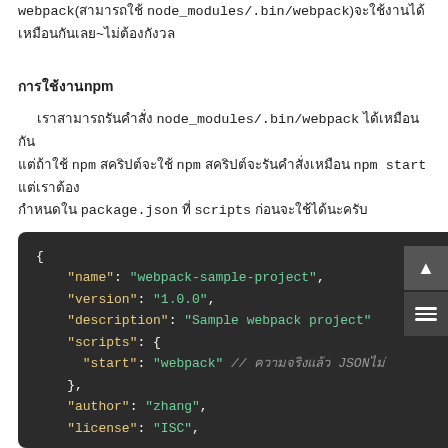webpack(สามารถใช้ node_modules/.bin/webpack)จะใช้งานได้ เหมือนกันเลย~ไม่ต้องกังวล
การใช้งานnpm
เราสามารถรันคำสั่ง node_modules/.bin/webpack ได้เหมือนกัน แต่ถ้าใช้ npm สคริปต์จะใช้ npm สคริปต์จะรันคำสั่งเหมือน npm start แต่เราต้อง กำหนดใน package.json ที่ scripts ก่อนจะใช้ได้นะครับ
[Figure (screenshot): Code block showing a package.json file with fields: name, version, description, scripts (start: webpack), author, license]